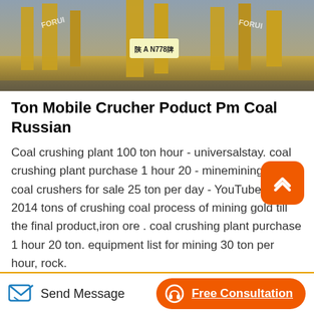[Figure (photo): Industrial machinery/mining equipment photo with yellow cranes and license plate N778 visible, with FORUI branding text]
Ton Mobile Crucher Poduct Pm Coal Russian
Coal crushing plant 100 ton hour - universalstay. coal crushing plant purchase 1 hour 20 - minemining. small coal crushers for sale 25 ton per day - YouTube 8 Feb 2014 tons of crushing coal process of mining gold till the final product,iron ore . coal crushing plant purchase 1 hour 20 ton. equipment list for mining 30 ton per hour, rock.
Coal crushing plant 100 ton hour, 200 ton per hour crusher. 600 ton hour crushing screening plants basalt 600 ton hour impact crusher for sale 80 tonnes per day coal crushing and screeningthe
Send Message
Free Consultation